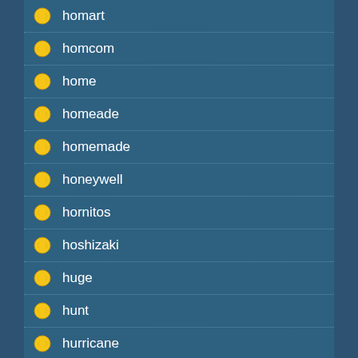homart
homcom
home
homeade
homemade
honeywell
hornitos
hoshizaki
huge
hunt
hurricane
hussmann
hydrographic
iceco
ideal